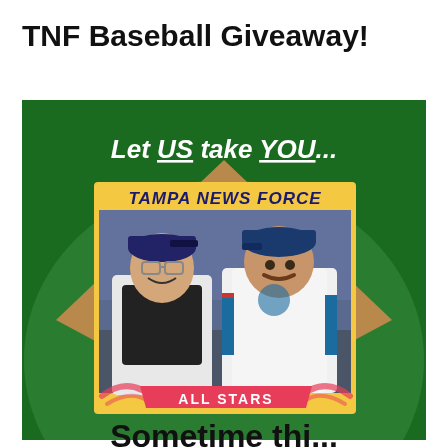TNF Baseball Giveaway!
[Figure (illustration): Baseball-themed promotional graphic with dark green baseball diamond field background. Text overlay reads 'Let US take YOU...' in white bold italic. A baseball card graphic in the center shows 'TAMPA NEWS FORCE' in dark blue italic text on a yellow/gold header, with two men dressed in baseball uniforms (one in catcher's gear with glasses, one in a white baseball jersey), and an 'ALL STARS' banner in coral/red at the bottom of the card.]
Somewhat cut-off text at bottom of image